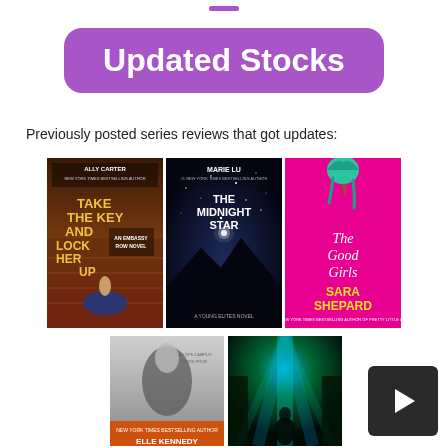[Figure (illustration): Small purple horizontal bar at top center of page]
Updated Stocks
Previously posted series reviews that got updates:
[Figure (photo): Book cover: Ally Carter - Take the Key and Lock Her Up (Embassy Row Novel), showing a girl in a blue gown on stairs]
[Figure (photo): Book cover: Marie Lu - The Midnight Star (A Young Elites Novel), dark starry night with mountains]
[Figure (photo): Book cover: Sara Shepard - The Good Girls, bright pink background with melting ice cream cone]
[Figure (photo): Book cover: Elle Kennedy - partial view, black and white romance cover]
[Figure (photo): Book cover: dark fantasy/sci-fi cover with figure and blue-green light rays]
[Figure (illustration): Dark navigation button with arrow/triangle pointing right, bottom right corner]